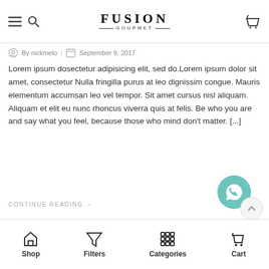FUSION GOURMET
By nickmelo | September 9, 2017
Lorem ipsum dosectetur adipisicing elit, sed do.Lorem ipsum dolor sit amet, consectetur Nulla fringilla purus at leo dignissim congue. Mauris elementum accumsan leo vel tempor. Sit amet cursus nisl aliquam. Aliquam et elit eu nunc rhoncus viverra quis at felis. Be who you are and say what you feel, because those who mind don't matter. [...]
CONTINUE READING →
[Figure (other): WhatsApp chat button (teal circle with WhatsApp icon)]
Shop | Filters | Categories | Cart